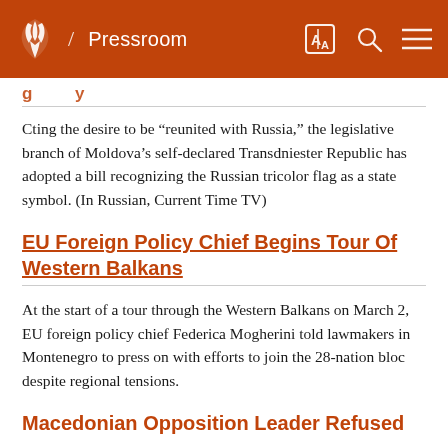/ Pressroom
Cting the desire to be “reunited with Russia,” the legislative branch of Moldova’s self-declared Transdniester Republic has adopted a bill recognizing the Russian tricolor flag as a state symbol. (In Russian, Current Time TV)
EU Foreign Policy Chief Begins Tour Of Western Balkans
At the start of a tour through the Western Balkans on March 2, EU foreign policy chief Federica Mogherini told lawmakers in Montenegro to press on with efforts to join the 28-nation bloc despite regional tensions.
Macedonian Opposition Leader Refused